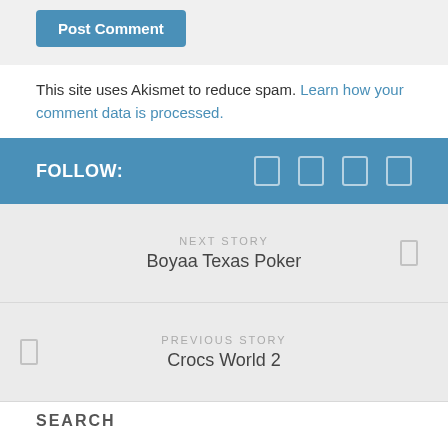Post Comment
This site uses Akismet to reduce spam. Learn how your comment data is processed.
FOLLOW:
NEXT STORY
Boyaa Texas Poker
PREVIOUS STORY
Crocs World 2
SEARCH